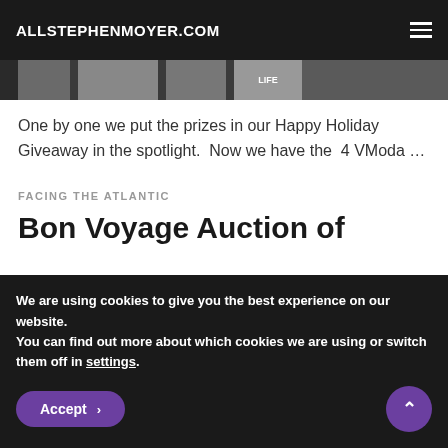ALLSTEPHENMOYER.COM
[Figure (photo): Partial image strip showing book covers or magazine images including one labeled LIFE]
One by one we put the prizes in our Happy Holiday Giveaway in the spotlight.  Now we have the  4 VModa …
FACING THE ATLANTIC
Bon Voyage Auction of
We are using cookies to give you the best experience on our website.
You can find out more about which cookies we are using or switch them off in settings.
Accept
^